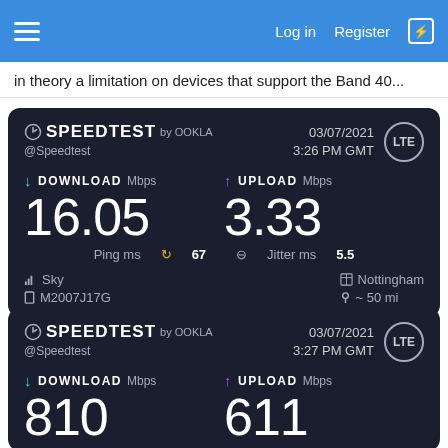Log in  Register
in theory a limitation on devices that support the Band 40...
[Figure (screenshot): Speedtest by Ookla result card showing Download: 16.05 Mbps, Upload: 3.33 Mbps, Ping: 67 ms, Jitter: 5.5 ms, Network: Sky, Device: M2007J17G, Location: Nottingham ~50 mi, Date: 03/07/2021 3:26 PM GMT, LTE]
[Figure (screenshot): Speedtest by Ookla result card (partial) showing Download: 810 Mbps, Upload: 611 Mbps, Date: 03/07/2021 3:27 PM GMT, LTE]